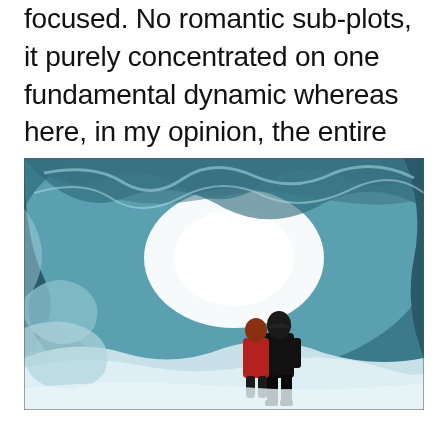focused. No romantic sub-plots, it purely concentrated on one fundamental dynamic whereas here, in my opinion, the entire equilibrium is compromised.
[Figure (photo): Two people walking through a large ice cave or glacier tunnel. The cave interior shows blue and white ice formations overhead and on the sides. A bright white light glows at the tunnel exit ahead. The figures are dressed in dark winter clothing with one in a red jacket. Snow and ice fill the foreground.]
...